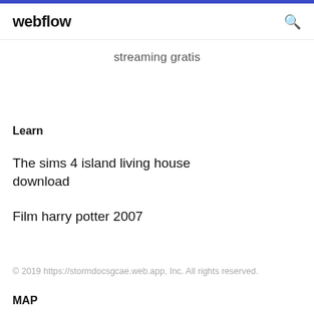webflow
streaming gratis
Learn
The sims 4 island living house download
Film harry potter 2007
© 2019 https://stormdocsgcae.web.app, Inc. All rights reserved.
MAP